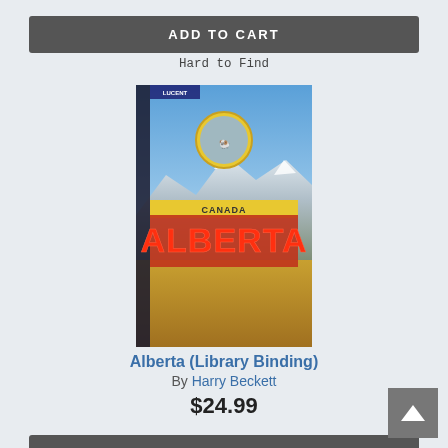[Figure (other): ADD TO CART button (dark gray, white text)]
Hard to Find
[Figure (photo): Book cover for Alberta (Library Binding) showing mountain landscape with ALBERTA text in red letters]
Alberta (Library Binding)
By Harry Beckett
$24.99
[Figure (other): ADD TO CART button (dark gray, white text)]
Special Order
[Figure (photo): Book cover for Choice of Colours showing football players]